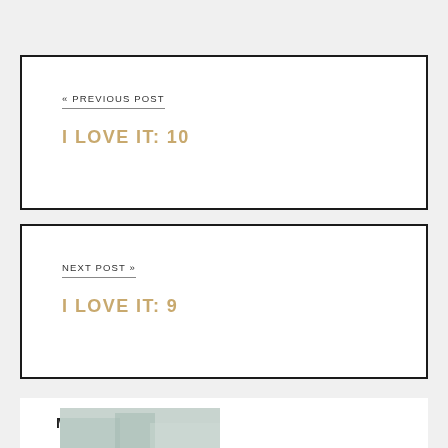« PREVIOUS POST
I LOVE IT: 10
NEXT POST »
I LOVE IT: 9
MEET KRISTIN
[Figure (photo): Partial photo visible at bottom of page, appears to show a room or interior scene in muted green/teal tones]